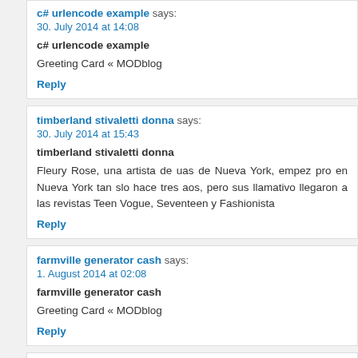c# urlencode example says:
30. July 2014 at 14:08
c# urlencode example
Greeting Card « MODblog
Reply
timberland stivaletti donna says:
30. July 2014 at 15:43
timberland stivaletti donna
Fleury Rose, una artista de uas de Nueva York, empez pro en Nueva York tan slo hace tres aos, pero sus llamativo llegaron a las revistas Teen Vogue, Seventeen y Fashionista
Reply
farmville generator cash says:
1. August 2014 at 02:08
farmville generator cash
Greeting Card « MODblog
Reply
cash generator farmville 2.2 free download says:
1. August 2014 at 20:28